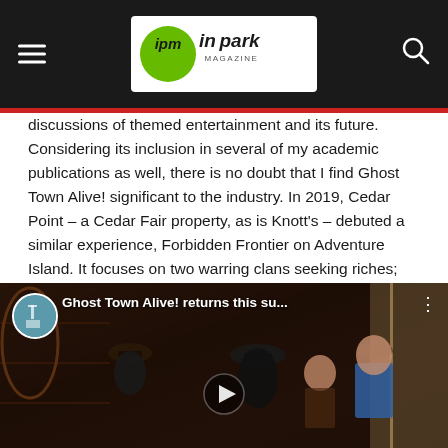ipm inpark MAGAZINE
discussions of themed entertainment and its future. Considering its inclusion in several of my academic publications as well, there is no doubt that I find Ghost Town Alive! significant to the industry. In 2019, Cedar Point – a Cedar Fair property, as is Knott's – debuted a similar experience, Forbidden Frontier on Adventure Island. It focuses on two warring clans seeking riches; guests enter on Truce Day and participate in quests, games, and puzzles to unravel the story. Both Ghost Town Alive! and Forbidden Frontier are returning for the 2022 season, operating on select days during the summer months.
[Figure (screenshot): YouTube video thumbnail showing 'Ghost Town Alive! returns this su...' with actors in western/period costumes in a dim wooden interior setting. A circular avatar thumbnail is shown in the top-left corner with a play button in the center.]